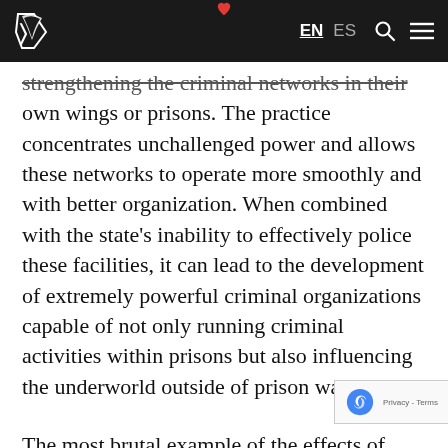EN ES [search] [menu]
strengthening the criminal networks in their own wings or prisons. The practice concentrates unchallenged power and allows these networks to operate more smoothly and with better organization. When combined with the state's inability to effectively police these facilities, it can lead to the development of extremely powerful criminal organizations capable of not only running criminal activities within prisons but also influencing the underworld outside of prison walls.
The most brutal example of the effects of segregation can perhaps be found with the paramilitaries of the United Self-Defense Forces of Colombia (Autodefensas Unidas de Colombia